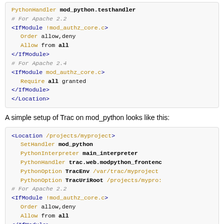[Figure (other): Apache config code block (top, partial): PythonHandler mod_python.testhandler, # For Apache 2.2, <IfModule !mod_authz_core.c>, Order allow,deny, Allow from all, </IfModule>, # For Apache 2.4, <IfModule mod_authz_core.c>, Require all granted, </IfModule>, </Location>]
A simple setup of Trac on mod_python looks like this:
[Figure (other): Apache config code block: <Location /projects/myproject>, SetHandler mod_python, PythonInterpreter main_interpreter, PythonHandler trac.web.modpython_frontend, PythonOption TracEnv /var/trac/myproject, PythonOption TracUriRoot /projects/mypro:, # For Apache 2.2, <IfModule !mod_authz_core.c>, Order allow,deny, Allow from all, </IfModule>, # For Apache 2.4, <IfModule mod_authz_core.c>, Require all granted, </IfModule>]